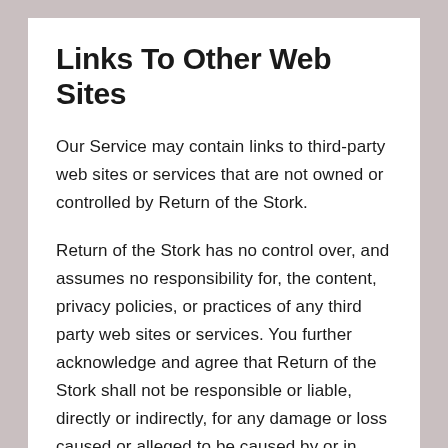Links To Other Web Sites
Our Service may contain links to third-party web sites or services that are not owned or controlled by Return of the Stork.
Return of the Stork has no control over, and assumes no responsibility for, the content, privacy policies, or practices of any third party web sites or services. You further acknowledge and agree that Return of the Stork shall not be responsible or liable, directly or indirectly, for any damage or loss caused or alleged to be caused by or in connection with use of or reliance on any